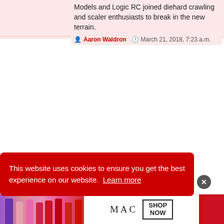live rc
Models and Logic RC joined diehard crawling and scaler enthusiasts to break in the new terrain.
Aaron Waldron  March 21, 2018, 7:23 a.m.
This website uses cookies to ensure you get the best experience on our website.  Learn more
[Figure (photo): Advertisement banner for MAC cosmetics showing colorful lipsticks on the left, MAC logo in center, and SHOP NOW box with red lipstick on the right]